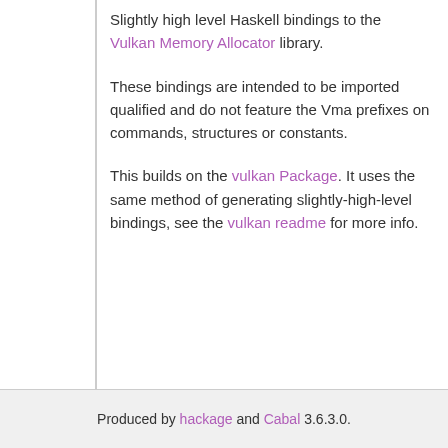Slightly high level Haskell bindings to the Vulkan Memory Allocator library.
These bindings are intended to be imported qualified and do not feature the Vma prefixes on commands, structures or constants.
This builds on the vulkan Package. It uses the same method of generating slightly-high-level bindings, see the vulkan readme for more info.
Produced by hackage and Cabal 3.6.3.0.